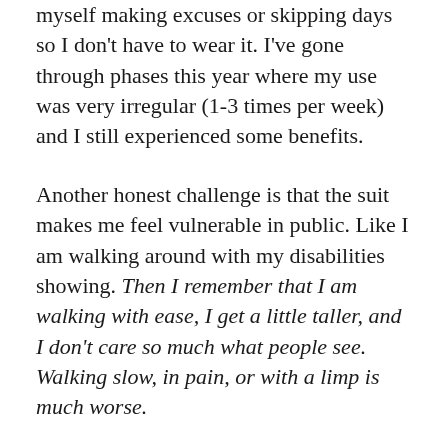myself making excuses or skipping days so I don't have to wear it. I've gone through phases this year where my use was very irregular (1-3 times per week) and I still experienced some benefits.
Another honest challenge is that the suit makes me feel vulnerable in public. Like I am walking around with my disabilities showing. Then I remember that I am walking with ease, I get a little taller, and I don't care so much what people see. Walking slow, in pain, or with a limp is much worse.
I will say that the suit does sometimes make me feel athletic. I have come to  find it a most useful tool during hiking, walking, household chores, and extended activities that have you moving on your legs. It is definitely not a sitting suit.